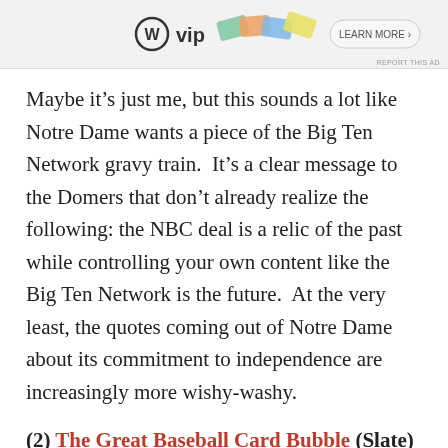[Figure (other): Advertisement banner at top of page showing WordPress VIP logo and colorful card graphics with 'REPORT THIS AD' text in bottom right]
Maybe it's just me, but this sounds a lot like Notre Dame wants a piece of the Big Ten Network gravy train.  It's a clear message to the Domers that don't already realize the following: the NBC deal is a relic of the past while controlling your own content like the Big Ten Network is the future.  At the very least, the quotes coming out of Notre Dame about its commitment to independence are increasingly more wishy-washy.
(2) The Great Baseball Card Bubble (Slate) – This excerpt from a new book on how baseball cards went through a tulip bulb-like craze (which I'm now going to have to read in full) hits pretty close to home.  My